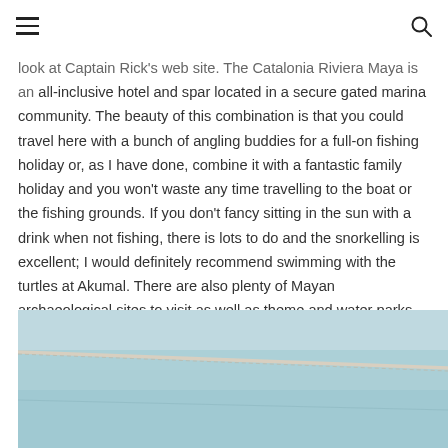[hamburger menu] [search icon]
look at Captain Rick's web site. The Catalonia Riviera Maya is an all-inclusive hotel and spar located in a secure gated marina community. The beauty of this combination is that you could travel here with a bunch of angling buddies for a full-on fishing holiday or, as I have done, combine it with a fantastic family holiday and you won't waste any time travelling to the boat or the fishing grounds. If you don't fancy sitting in the sun with a drink when not fishing, there is lots to do and the snorkelling is excellent; I would definitely recommend swimming with the turtles at Akumal. There are also plenty of Mayan archaeological sites to visit as well as theme and water parks.
[Figure (photo): Aerial or boat-level view of turquoise water with a rope or cable crossing diagonally across the frame.]